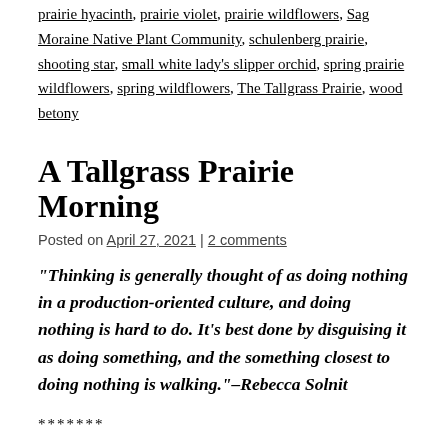prairie hyacinth, prairie violet, prairie wildflowers, Sag Moraine Native Plant Community, schulenberg prairie, shooting star, small white lady's slipper orchid, spring prairie wildflowers, spring wildflowers, The Tallgrass Prairie, wood betony
A Tallgrass Prairie Morning
Posted on April 27, 2021 | 2 comments
“Thinking is generally thought of as doing nothing in a production-oriented culture, and doing nothing is hard to do. It’s best done by disguising it as doing something, and the something closest to doing nothing is walking.”–Rebecca Solnit
*******
High winds. Soaring temperatures. Sunshine.